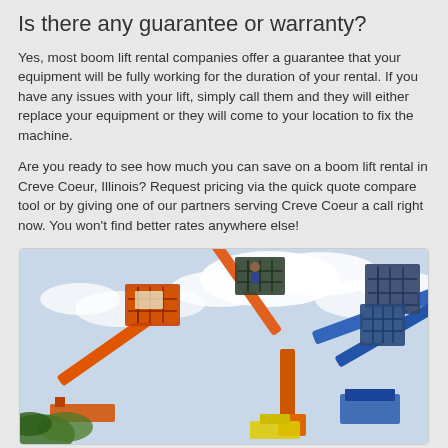Is there any guarantee or warranty?
Yes, most boom lift rental companies offer a guarantee that your equipment will be fully working for the duration of your rental. If you have any issues with your lift, simply call them and they will either replace your equipment or they will come to your location to fix the machine.
Are you ready to see how much you can save on a boom lift rental in Creve Coeur, Illinois? Request pricing via the quick quote compare tool or by giving one of our partners serving Creve Coeur a call right now. You won't find better rates anywhere else!
[Figure (photo): Photo of three boom lifts (aerial work platforms) extended upward against a cloudy sky. Left lift is orange/red, center lift is orange with an extended arm, right lift is blue/steel colored. Viewed from below looking up.]